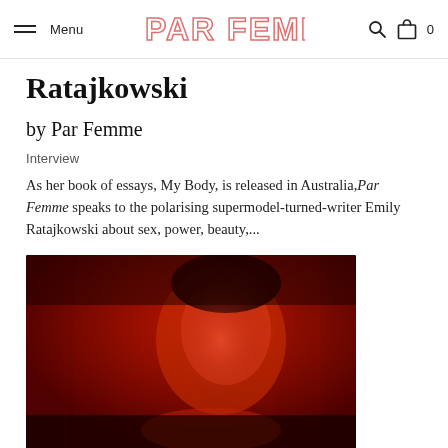Menu | PAR FEMME | [search icon] [bag icon] 0
Ratajkowski
by Par Femme
Interview
As her book of essays, My Body, is released in Australia, Par Femme speaks to the polarising supermodel-turned-writer Emily Ratajkowski about sex, power, beauty,...
[Figure (photo): Close-up portrait photograph of Emily Ratajkowski bathed in deep red light, she is resting her chin on her hand, looking to the side in a contemplative pose against a dark red background.]